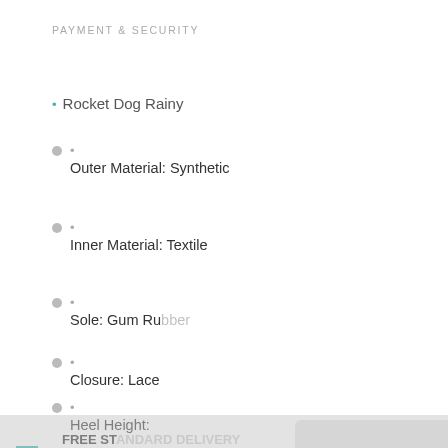PAYMENT & SECURITY
• Rocket Dog Rainy
Outer Material: Synthetic
Inner Material: Textile
Sole: Gum Rubber
Closure: Lace
Heel Height:
FREE STANDARD DELIVERY
Want it To... (Free Standard Delivery) a...
[Figure (screenshot): Cookie consent modal overlay showing text: 'This site uses cookies to provide and improve your shopping experience. If you want to benefit from this improved service, please opt-in. Cookies Page.' with opt-in text and ACCEPT COOKIES button.]